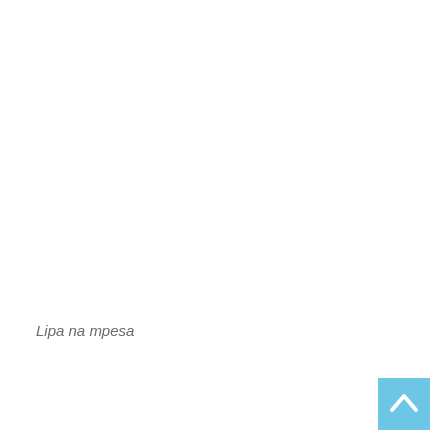Lipa na mpesa
[Figure (other): Light blue square button with a white upward-pointing chevron/arrow icon, located in the bottom-right corner of the page]